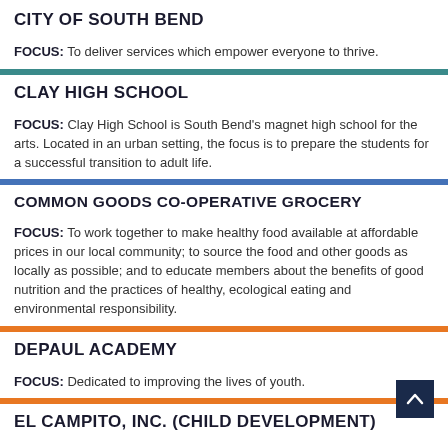CITY OF SOUTH BEND
FOCUS: To deliver services which empower everyone to thrive.
CLAY HIGH SCHOOL
FOCUS: Clay High School is South Bend's magnet high school for the arts. Located in an urban setting, the focus is to prepare the students for a successful transition to adult life.
COMMON GOODS CO-OPERATIVE GROCERY
FOCUS: To work together to make healthy food available at affordable prices in our local community; to source the food and other goods as locally as possible; and to educate members about the benefits of good nutrition and the practices of healthy, ecological eating and environmental responsibility.
DEPAUL ACADEMY
FOCUS: Dedicated to improving the lives of youth.
EL CAMPITO, INC. (CHILD DEVELOPMENT)